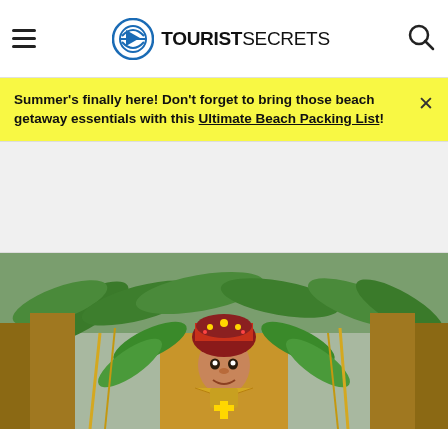TOURISTSECRETS
Summer's finally here! Don't forget to bring those beach getaway essentials with this Ultimate Beach Packing List!
[Figure (other): Advertisement placeholder block, light gray background]
[Figure (photo): A young child dressed in colorful traditional Filipino festival costume with green banana leaf decorations and golden ornate headdress and accessories, surrounded by other festival participants, at a cultural parade]